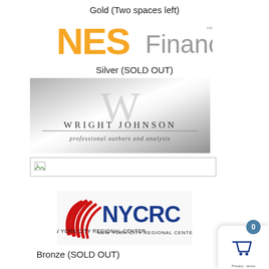Gold (Two spaces left)
[Figure (logo): NES Financial logo — 'NES' in orange bold letters, 'Financial' in gray, with a small trademark symbol]
Silver (SOLD OUT)
[Figure (logo): Wright Johnson logo — silver/gray gradient background with large W monogram and text 'WRIGHT JOHNSON professional authors and analysts']
[Figure (other): Broken image placeholder — small image icon with border]
[Figure (logo): NYCRC New York City Regional Center logo — red swoosh/eagle wing graphic with blue NYCRC text]
Bronze (SOLD OUT)